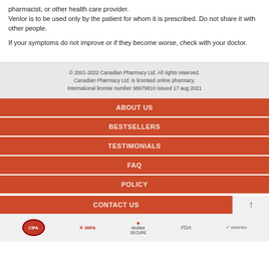pharmacist, or other health care provider. Venlor is to be used only by the patient for whom it is prescribed. Do not share it with other people.
If your symptoms do not improve or if they become worse, check with your doctor.
© 2001-2022 Canadian Pharmacy Ltd. All rights reserved. Canadian Pharmacy Ltd. is licensed online pharmacy. International license number 98979810 issued 17 aug 2021
ABOUT US
BESTSELLERS
TESTIMONIALS
FAQ
POLICY
CONTACT US
[Figure (logo): Trust logos: CIPA, MIPA, McAfee Secure, FDA, Verified]